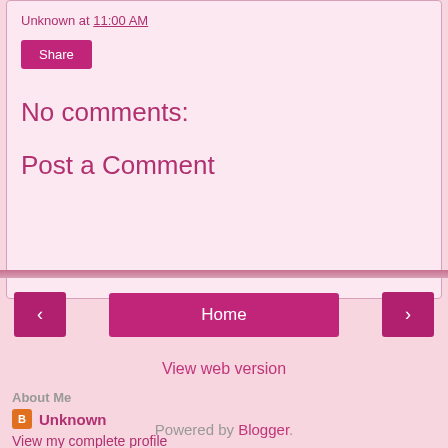Unknown at 11:00 AM
Share
No comments:
Post a Comment
‹
Home
›
View web version
About Me
Unknown
View my complete profile
Powered by Blogger.